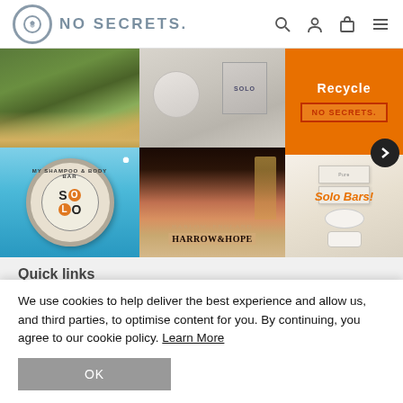NO SECRETS.
[Figure (screenshot): Instagram-style image grid showing: top-left: grass/nature photo, top-center: Solo skincare products on white surface, top-right: orange panel with 'Recycle NO SECRETS. Solo Bars!' text; bottom-left: hand holding SOLO shampoo & body bar tin against blue sky, bottom-center: Harrow & Hope wine bottle with champagne glass, bottom-right: white soap bars and product boxes]
Quick links
We use cookies to help deliver the best experience and allow us, and third parties, to optimise content for you. By continuing, you agree to our cookie policy. Learn More